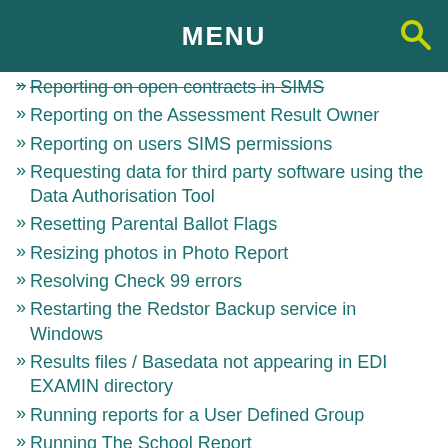MENU
Reporting on open contracts in SIMS
Reporting on the Assessment Result Owner
Reporting on users SIMS permissions
Requesting data for third party software using the Data Authorisation Tool
Resetting Parental Ballot Flags
Resizing photos in Photo Report
Resolving Check 99 errors
Restarting the Redstor Backup service in Windows
Results files / Basedata not appearing in EDI EXAMIN directory
Running reports for a User Defined Group
Running The School Report
Salary Projections show a member of staff named ZZ_GDPR_Compliance